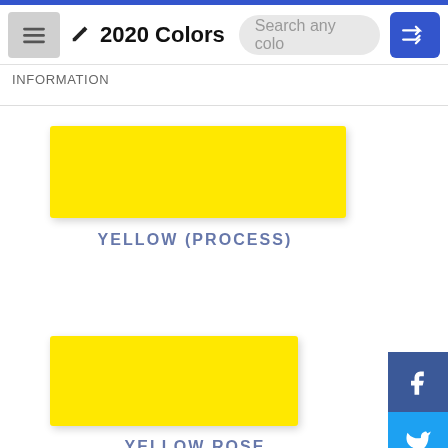2020 Colors
INFORMATION
[Figure (other): Yellow color swatch for YELLOW (PROCESS)]
YELLOW (PROCESS)
[Figure (other): Yellow color swatch for YELLOW ROSE]
YELLOW ROSE
[Figure (other): Yellow color swatch (partially visible, cut off at bottom)]